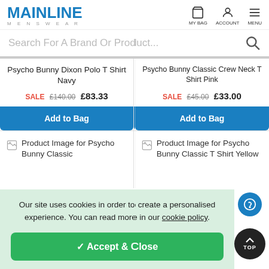[Figure (logo): Mainline Menswear logo in blue]
[Figure (infographic): Navigation icons: MY BAG, ACCOUNT, MENU]
Search For A Brand Or Product...
Psycho Bunny Dixon Polo T Shirt Navy
SALE £140.00 £83.33
Add to Bag
Psycho Bunny Classic Crew Neck T Shirt Pink
SALE £45.00 £33.00
Add to Bag
[Figure (photo): Product Image for Psycho Bunny Classic]
[Figure (photo): Product Image for Psycho Bunny Classic T Shirt Yellow]
Our site uses cookies in order to create a personalised experience. You can read more in our cookie policy.
✓ Accept & Close